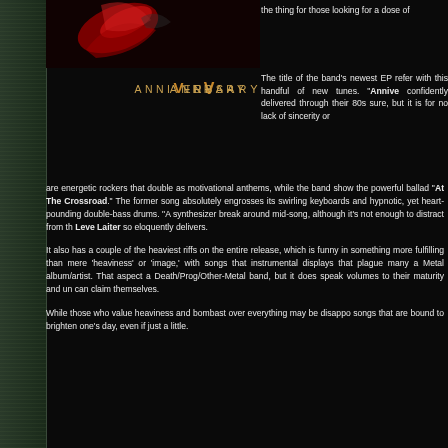[Figure (illustration): Red swoosh/logo fragment of album cover art on dark background, top-left area]
the thing for those looking for a dose of
[Figure (illustration): ANNIVERSARY text logo with stylized golden/bronze V letter in the center]
The title of the band's newest EP refer with this handful of new tunes. "Annive confidently delivered through their 80s sure, but it is for no lack of sincerity or are energetic rockers that double as motivational anthems, while the band show the powerful ballad "At The Crossroad." The former song absolutely engrosses its swirling keyboards and hypnotic, yet heart-pounding double-bass drums. "A synthesizer break around mid-song, although it's not enough to distract from th Leve Laiter so eloquently delivers.
It also has a couple of the heaviest riffs on the entire release, which is funny in something more fulfilling than mere 'heaviness' or 'image,' with songs that instrumental displays that plague many a Metal album/artist. That aspect a Death/Prog/Other-Metal band, but it does speak volumes to their maturity and un can claim themselves.
While those who value heaviness and bombast over everything may be disappo songs that are bound to brighten one's day, even if just a little.